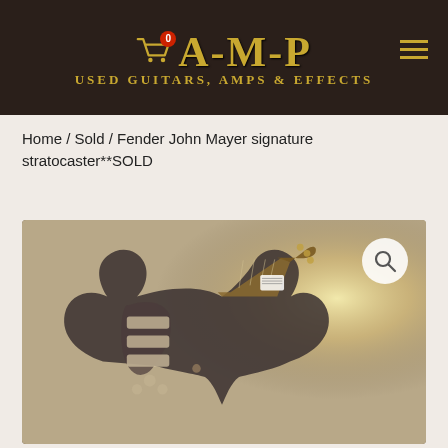[Figure (logo): AMP Used Guitars, Amps & Effects logo with shopping cart icon on dark brown background]
Home / Sold / Fender John Mayer signature stratocaster**SOLD
[Figure (photo): Photo of a black Fender John Mayer signature Stratocaster electric guitar on a light background with a warm light source in the upper right. A search/zoom icon appears in the upper right corner of the photo.]